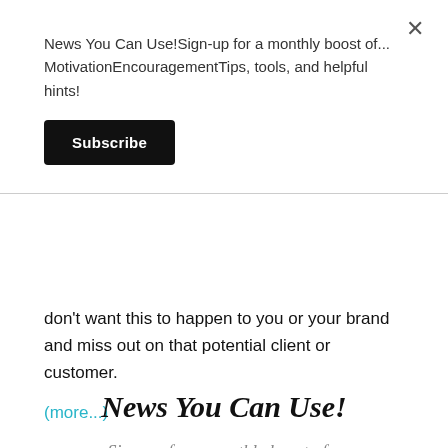News You Can Use!Sign-up for a monthly boost of... MotivationEncouragementTips, tools, and helpful hints!
Subscribe
don’t want this to happen to you or your brand and miss out on that potential client or customer.
(more...)
News You Can Use!
Sign-up for a monthly boost of...
Motivation